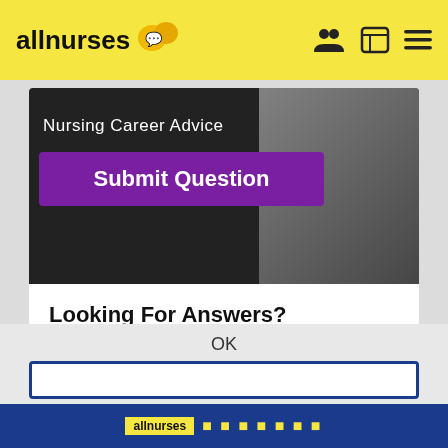allnurses
[Figure (screenshot): Nursing Career Advice banner with a woman's photo and a purple Submit Question button]
Looking For Answers?
Submit Your Career Questions
OK